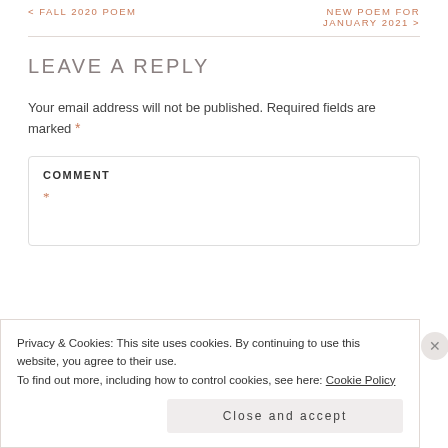< FALL 2020 POEM
NEW POEM FOR JANUARY 2021 >
LEAVE A REPLY
Your email address will not be published. Required fields are marked *
COMMENT
*
Privacy & Cookies: This site uses cookies. By continuing to use this website, you agree to their use.
To find out more, including how to control cookies, see here: Cookie Policy
Close and accept